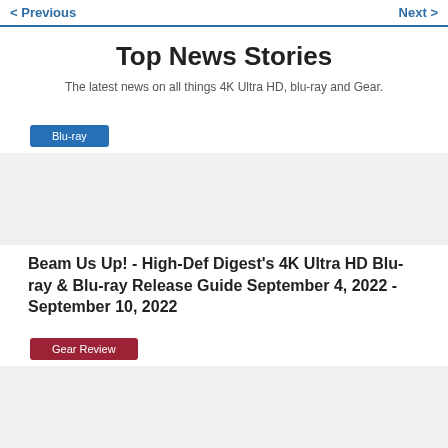< Previous   Next >
Top News Stories
The latest news on all things 4K Ultra HD, blu-ray and Gear.
Blu-ray
[Figure (photo): Blu-ray article image placeholder]
Beam Us Up! - High-Def Digest's 4K Ultra HD Blu-ray & Blu-ray Release Guide September 4, 2022 - September 10, 2022
Gear Review
[Figure (photo): Gear Review article image placeholder]
First Look: Optoma's New Cinema X P2 Short Throw Projector